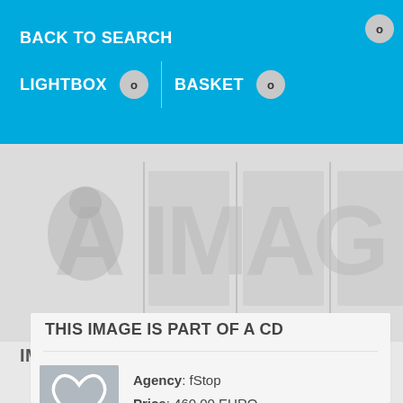BACK TO SEARCH
LIGHTBOX  0  |  BASKET  0
[Figure (photo): Watermarked CD preview images showing blurred figures and shapes with large watermark text overlay]
IMAGES ON THIS CD    Show all
THIS IMAGE IS PART OF A CD
Agency: fStop
Price: 460.00 EURO